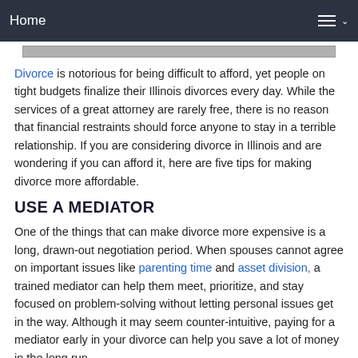Home
[Figure (photo): Partial image of a person visible at the top of the page, cropped]
Divorce is notorious for being difficult to afford, yet people on tight budgets finalize their Illinois divorces every day. While the services of a great attorney are rarely free, there is no reason that financial restraints should force anyone to stay in a terrible relationship. If you are considering divorce in Illinois and are wondering if you can afford it, here are five tips for making divorce more affordable.
USE A MEDIATOR
One of the things that can make divorce more expensive is a long, drawn-out negotiation period. When spouses cannot agree on important issues like parenting time and asset division, a trained mediator can help them meet, prioritize, and stay focused on problem-solving without letting personal issues get in the way. Although it may seem counter-intuitive, paying for a mediator early in your divorce can help you save a lot of money in the long run.